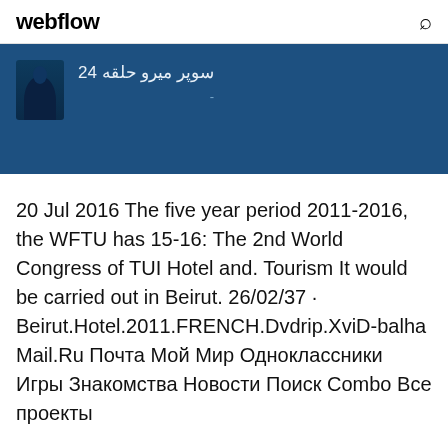webflow
[Figure (other): Dark blue banner with avatar silhouette and Arabic text: سوپر میرو حلقه 24]
20 Jul 2016 The five year period 2011-2016, the WFTU has 15-16: The 2nd World Congress of TUI Hotel and. Tourism It would be carried out in Beirut. 26/02/37 · Beirut.Hotel.2011.FRENCH.Dvdrip.XviD-balha Mail.Ru Почта Мой Мир Одноклассники Игры Знакомства Новости Поиск Combo Все проекты